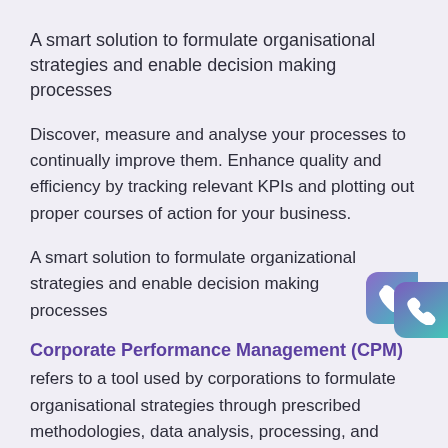A smart solution to formulate organisational strategies and enable decision making processes
Discover, measure and analyse your processes to continually improve them. Enhance quality and efficiency by tracking relevant KPIs and plotting out proper courses of action for your business.
A smart solution to formulate organizational strategies and enable decision making processes
Corporate Performance Management (CPM)
refers to a tool used by corporations to formulate organisational strategies through prescribed methodologies, data analysis, processing, and reporting to monitor and manage the performance of an enterprise. In other words, CPM helps corporations use proven and tested methods